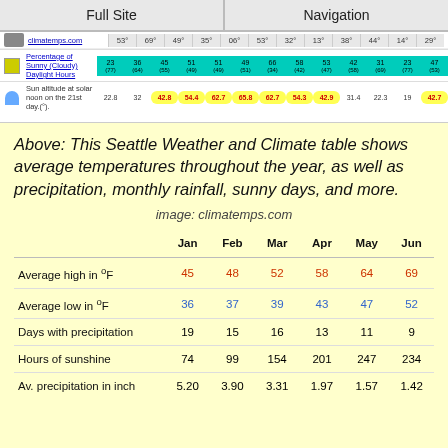Full Site | Navigation
[Figure (screenshot): Partial screenshot of Seattle weather and climate table from climatemps.com showing rows for Percentage of Sunny (Cloudy) Daylight Hours and Sun altitude at solar noon on the 21st day, with colored cells for each month.]
Above: This Seattle Weather and Climate table shows average temperatures throughout the year, as well as precipitation, monthly rainfall, sunny days, and more.
image: climatemps.com
|  | Jan | Feb | Mar | Apr | May | Jun |
| --- | --- | --- | --- | --- | --- | --- |
| Average high in °F | 45 | 48 | 52 | 58 | 64 | 69 |
| Average low in °F | 36 | 37 | 39 | 43 | 47 | 52 |
| Days with precipitation | 19 | 15 | 16 | 13 | 11 | 9 |
| Hours of sunshine | 74 | 99 | 154 | 201 | 247 | 234 |
| Av. precipitation in inch | 5.20 | 3.90 | 3.31 | 1.97 | 1.57 | 1.42 |